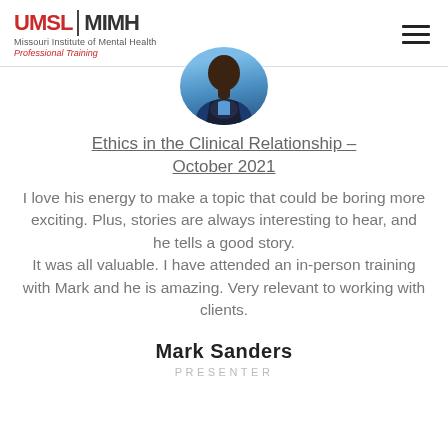UMSL | MIMH Missouri Institute of Mental Health Professional Training
[Figure (photo): Circular headshot photo of Mark Sanders, a man in a blue shirt and dark blazer]
Ethics in the Clinical Relationship – October 2021
I love his energy to make a topic that could be boring more exciting. Plus, stories are always interesting to hear, and he tells a good story. It was all valuable. I have attended an in-person training with Mark and he is amazing. Very relevant to working with clients.
Mark Sanders
PRESENTER